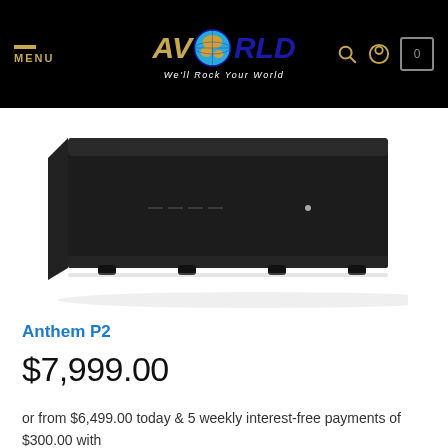MENU | AV WORLD We'll Rock Your World
[Figure (photo): Side view of a black Anthem P2 stereo amplifier on white background, showing the top and front edge with rubber feet]
Anthem P2
$7,999.00
or from $6,499.00 today & 5 weekly interest-free payments of $300.00 with